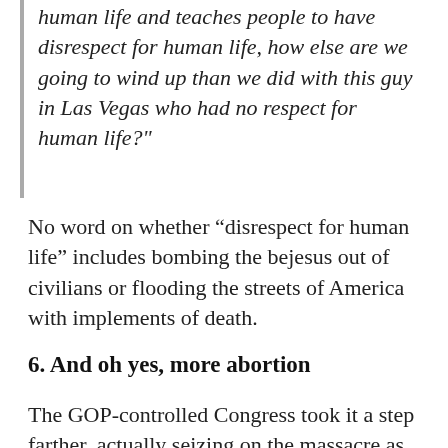human life and teaches people to have disrespect for human life, how else are we going to wind up than we did with this guy in Las Vegas who had no respect for human life?"
No word on whether “disrespect for human life” includes bombing the bejesus out of civilians or flooding the streets of America with implements of death.
6. And oh yes, more abortion
The GOP-controlled Congress took it a step farther, actually seizing on the massacre as